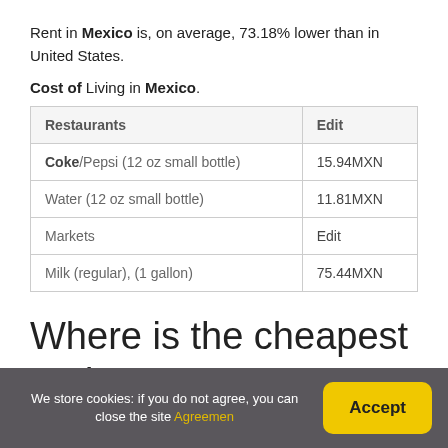Rent in Mexico is, on average, 73.18% lower than in United States.
Cost of Living in Mexico.
| Restaurants | Edit |
| --- | --- |
| Coke/Pepsi (12 oz small bottle) | 15.94MXN |
| Water (12 oz small bottle) | 11.81MXN |
| Markets | Edit |
| Milk (regular), (1 gallon) | 75.44MXN |
Where is the cheapest and
We store cookies: if you do not agree, you can close the site Agreemen